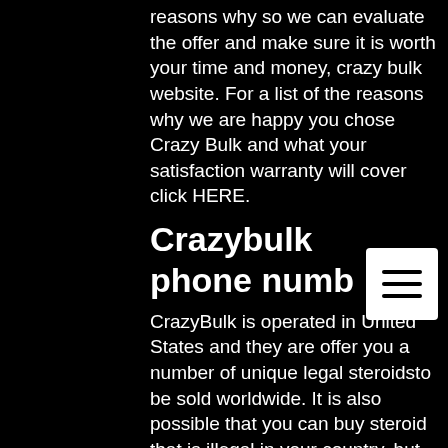reasons why so we can evaluate the offer and make sure it is worth your time and money, crazy bulk website. For a list of the reasons why we are happy you chose Crazy Bulk and what your satisfaction warranty will cover click HERE.
Crazybulk phone numb
CrazyBulk is operated in United States and they are offer you a number of unique legal steroidsto be sold worldwide. It is also possible that you can buy steroid that is illegal in your country, but is legal in your country.
However, the main reason that you visit the website is to know how to purchase steroids which will help increase your strength, size and weight which should always help you to achieve healthy overall health. I have prepared a list about the different types of steroids that you can use and their.